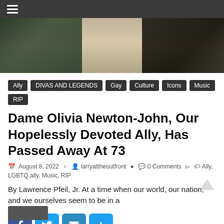≡ (hamburger menu)
[Figure (photo): Hero image showing a person in white/cream clothing standing in a doorway or entrance, with dark trees and green grass visible in the background]
Ally
DIVAS AND LEGENDS
Gay Culture
Icons
Music
RIP
Dame Olivia Newton-John, Our Hopelessly Devoted Ally, Has Passed Away At 73
August 8, 2022   larryattheoutfront   0 Comments   Ally, LGBTQ ally, Music, RIP
By Lawrence Pfeil, Jr. At a time when our world, our nation, and we ourselves seem to be in a